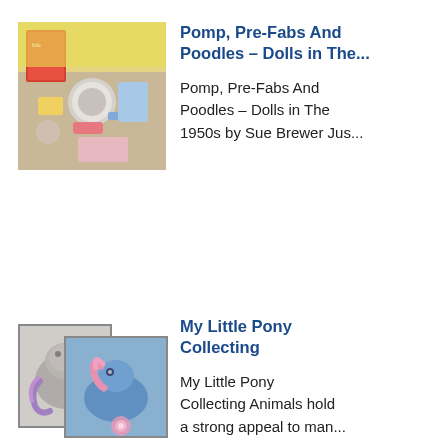[Figure (photo): Collage photo of 1950s dolls and accessories with colorful items]
Pomp, Pre-Fabs And Poodles – Dolls in The...
Pomp, Pre-Fabs And Poodles – Dolls in The 1950s by Sue Brewer Jus...
[Figure (photo): Two overlapping photos of My Little Pony collectible toys, one grey pony and one blue pony with pink accessories]
My Little Pony Collecting
My Little Pony Collecting Animals hold a strong appeal to man...